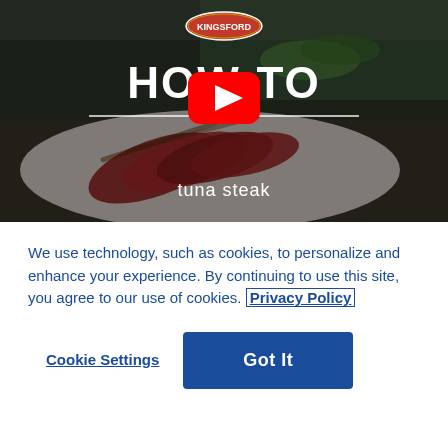[Figure (screenshot): Kingsford branded how-to video thumbnail for tuna steak recipe, with YouTube play button overlay, showing sliced tuna steak on a plate with dark overlay. Kingsford logo at top center, 'HOW-TO' in large bold white text, horizontal divider lines, and 'tuna steak' subtitle below.]
We use technology, such as cookies, to personalize and enhance your experience. By continuing to use this site, you agree to our use of cookies. Privacy Policy
Cookie Settings
Got It